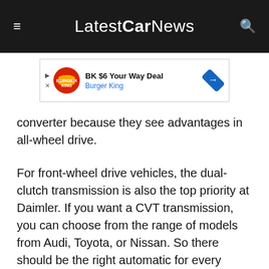LatestCarNews
[Figure (infographic): Burger King advertisement banner: BK $6 Your Way Deal, Burger King]
converter because they see advantages in all-wheel drive.
For front-wheel drive vehicles, the dual-clutch transmission is also the top priority at Daimler. If you want a CVT transmission, you can choose from the range of models from Audi, Toyota, or Nissan. So there should be the right automatic for every taste.